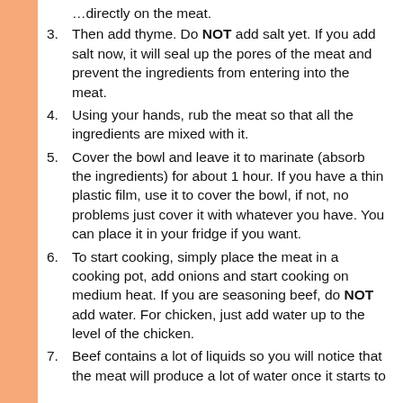Then add thyme. Do NOT add salt yet. If you add salt now, it will seal up the pores of the meat and prevent the ingredients from entering into the meat.
Using your hands, rub the meat so that all the ingredients are mixed with it.
Cover the bowl and leave it to marinate (absorb the ingredients) for about 1 hour. If you have a thin plastic film, use it to cover the bowl, if not, no problems just cover it with whatever you have. You can place it in your fridge if you want.
To start cooking, simply place the meat in a cooking pot, add onions and start cooking on medium heat. If you are seasoning beef, do NOT add water. For chicken, just add water up to the level of the chicken.
Beef contains a lot of liquids so you will notice that the meat will produce a lot of water once it starts to